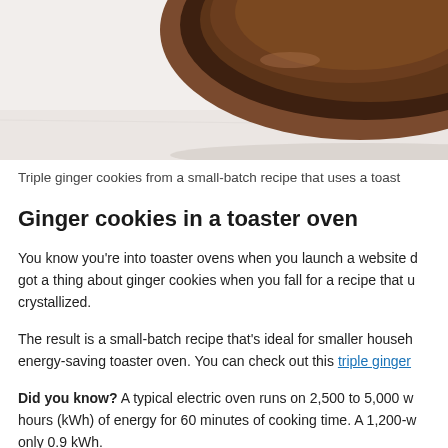[Figure (photo): Top portion of a wooden bowl with brown powder (likely ground ginger or spice), viewed from above on a white marble surface]
Triple ginger cookies from a small-batch recipe that uses a toast
Ginger cookies in a toaster oven
You know you're into toaster ovens when you launch a website about them. And you've got a thing about ginger cookies when you fall for a recipe that uses three forms — including crystallized.
The result is a small-batch recipe that's ideal for smaller households and bakes in an energy-saving toaster oven. You can check out this triple ginger
Did you know? A typical electric oven runs on 2,500 to 5,000 watts and uses kilowatt-hours (kWh) of energy for 60 minutes of cooking time. A 1,200-watt toaster oven uses only 0.9 kWh.
[Figure (photo): Close-up dark photo of ginger cookies on a surface, showing dark chocolate/ginger tones]